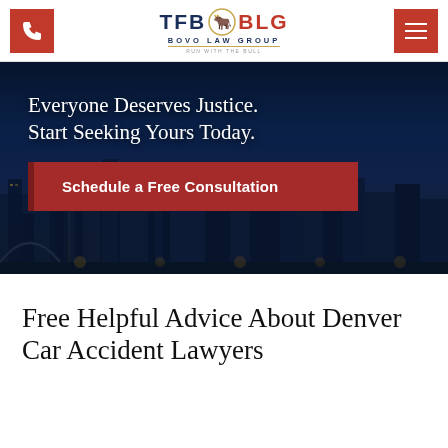[Figure (logo): TFB BLG Bovo Law Group logo with bull icon, red and navy blue text]
[Figure (photo): Denver city skyline at night with dark blue overlay, used as hero background]
Everyone Deserves Justice. Start Seeking Yours Today.
Schedule a Free Consultation
Free Helpful Advice About Denver Car Accident Lawyers